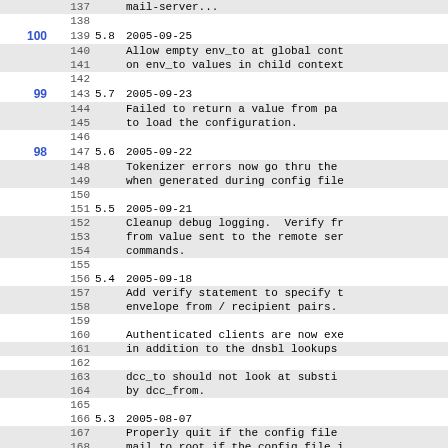| rev | line | ver | text |
| --- | --- | --- | --- |
|  | 137 |  | mail-server... |
|  | 138 |  |  |
| 100 | 139 | 5.8 | 2005-09-25 |
|  | 140 |  | Allow empty env_to at global cont |
|  | 141 |  | on env_to values in child context |
|  | 142 |  |  |
| 99 | 143 | 5.7 | 2005-09-23 |
|  | 144 |  | Failed to return a value from pa |
|  | 145 |  | to load the configuration. |
|  | 146 |  |  |
| 98 | 147 | 5.6 | 2005-09-22 |
|  | 148 |  | Tokenizer errors now go thru the |
|  | 149 |  | when generated during config file |
|  | 150 |  |  |
|  | 151 | 5.5 | 2005-09-21 |
|  | 152 |  | Cleanup debug logging.  Verify fr |
|  | 153 |  | from value sent to the remote ser |
|  | 154 |  | commands. |
|  | 155 |  |  |
|  | 156 | 5.4 | 2005-09-18 |
|  | 157 |  | Add verify statement to specify t |
|  | 158 |  | envelope from / recipient pairs. |
|  | 159 |  |  |
|  | 160 |  | Authenticated clients are now exe |
|  | 161 |  | in addition to the dnsbl lookups |
|  | 162 |  |  |
|  | 163 |  | dcc_to should not look at substi |
|  | 164 |  | by dcc_from. |
|  | 165 |  |  |
|  | 166 | 5.3 | 2005-08-07 |
|  | 167 |  | Properly quit if the config file |
|  | 168 |  | mail to root if the config file i |
|  | 169 |  | modified, but contains syntax er |